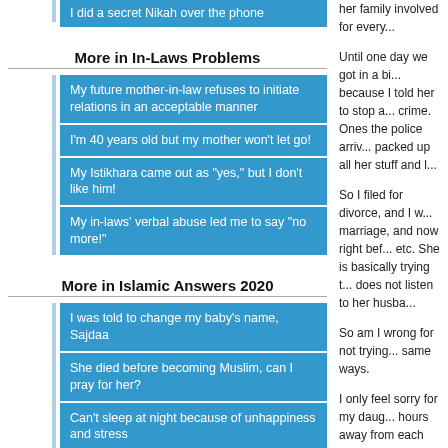I did a secret Nikah over the phone
More in In-Laws Problems
My future mother-in-law refuses to initiate relations in an acceptable manner
I'm 40 years old but my mother won't let go!
My Istikhara came out as "yes," but I don't like him!
My in-laws' verbal abuse led me to say "no more!"
More in Islamic Answers 2020
I was told to change my baby's name, Sajdaa
She died before becoming Muslim, can I pray for her?
Can't sleep at night because of unhappiness and stress
28 years old and unmarried, why is this happening?
More in Marriage
Her body was paralyzed so my parents refuse our marriage
What if our children will have genetic abnormalities?
Learning about Islam as a transgender male
My parents won't let me marry and have many
her family involved for every...
Until one day we got in a big... because I told her to stop a... crime. Ones the police arriv... packed up all her stuff and l...
So I filed for divorce, and I w... marriage, and now right bef... etc. She is basically trying t... does not listen to her husba...
So am I wrong for not trying... same ways.
I only feel sorry for my daug... hours away from each othe...
- mmmhamza13